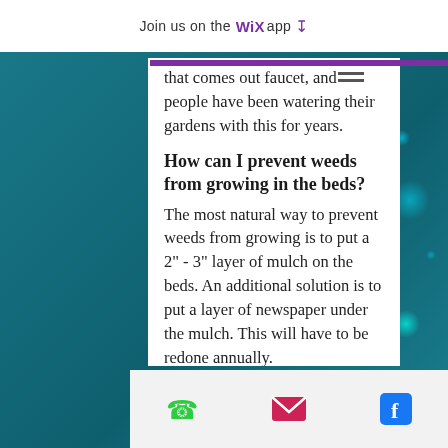Join us on the WiX app ↓
that comes out faucet, and people have been watering their gardens with this for years.
How can I prevent weeds from growing in the beds?
The most natural way to prevent weeds from growing is to put a 2" - 3" layer of mulch on the beds. An additional solution is to put a layer of newspaper under the mulch. This will have to be redone annually.
How do I arrange the